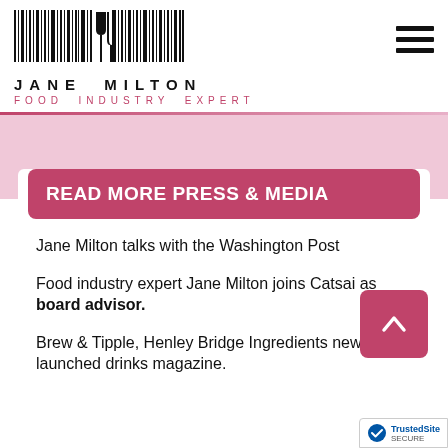[Figure (logo): Jane Milton Food Industry Expert logo with barcode graphic above the name]
READ MORE PRESS & MEDIA
Jane Milton talks with the Washington Post
Food industry expert Jane Milton joins Catsai as board advisor.
Brew & Tipple, Henley Bridge Ingredients newly launched drinks magazine.